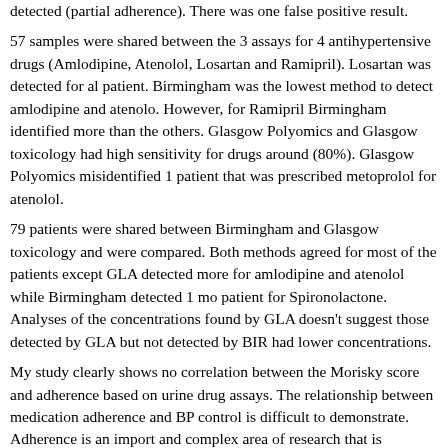detected (partial adherence). There was one false positive result.
57 samples were shared between the 3 assays for 4 antihypertensive drugs (Amlodipine, Atenolol, Losartan and Ramipril). Losartan was detected for all patient. Birmingham was the lowest method to detect amlodipine and atenolol. However, for Ramipril Birmingham identified more than the others. Glasgow Polyomics and Glasgow toxicology had high sensitivity for drugs around (80%). Glasgow Polyomics misidentified 1 patient that was prescribed metoprolol for atenolol.
79 patients were shared between Birmingham and Glasgow toxicology and were compared. Both methods agreed for most of the patients except GLA detected more for amlodipine and atenolol while Birmingham detected 1 more patient for Spironolactone. Analyses of the concentrations found by GLA doesn't suggest those detected by GLA but not detected by BIR had lower concentrations.
My study clearly shows no correlation between the Morisky score and adherence based on urine drug assays. The relationship between medication adherence and BP control is difficult to demonstrate. Adherence is an important and complex area of research that is essential to improve hypertension management and decrease the global burden of hypertension.